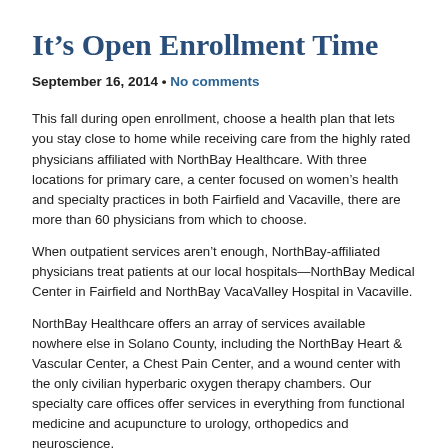It's Open Enrollment Time
September 16, 2014 • No comments
This fall during open enrollment, choose a health plan that lets you stay close to home while receiving care from the highly rated physicians affiliated with NorthBay Healthcare. With three locations for primary care, a center focused on women's health and specialty practices in both Fairfield and Vacaville, there are more than 60 physicians from which to choose.
When outpatient services aren't enough, NorthBay-affiliated physicians treat patients at our local hospitals—NorthBay Medical Center in Fairfield and NorthBay VacaValley Hospital in Vacaville.
NorthBay Healthcare offers an array of services available nowhere else in Solano County, including the NorthBay Heart & Vascular Center, a Chest Pain Center, and a wound center with the only civilian hyperbaric oxygen therapy chambers. Our specialty care offices offer services in everything from functional medicine and acupuncture to urology, orthopedics and neuroscience.
In addition, NorthBay's Patient Satisfaction Assessment scores for both